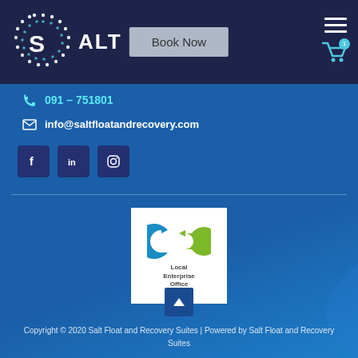[Figure (logo): SALT logo with circular dotted pattern in white and blue on dark navy background]
Book Now
091 - 751801
info@saltfloatandrecovery.com
[Figure (logo): Social media icons: Facebook, LinkedIn, Instagram on dark blue square backgrounds]
[Figure (logo): Local Enterprise Office logo - blue and green circular arrow logo with text 'Local Enterprise Office']
Copyright © 2020 Salt Float and Recovery Suites | Powered by Salt Float and Recovery Suites